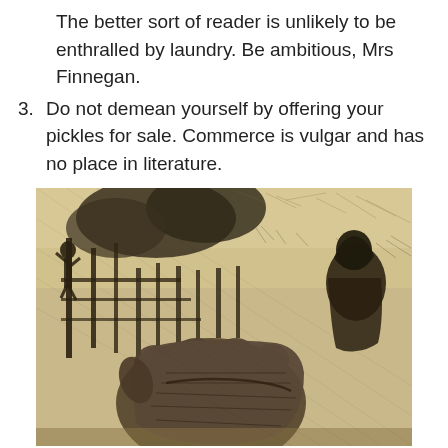The better sort of reader is unlikely to be enthralled by laundry. Be ambitious, Mrs Finnegan.
3. Do not demean yourself by offering your pickles for sale. Commerce is vulgar and has no place in literature.
[Figure (illustration): A charcoal or pencil sketch drawing showing a large fist or hand in the foreground, a hooded figure on the right, and a dark fence-like structure with a figure climbing or hanging on the left, set against a textured, atmospheric background with trees and sky.]